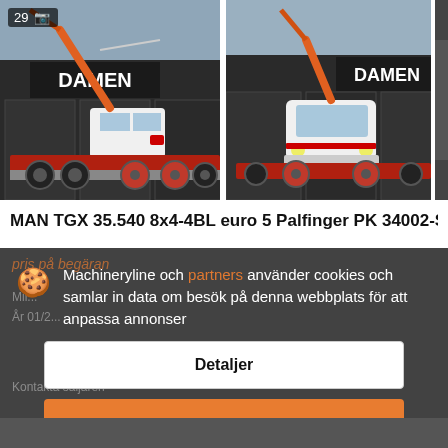[Figure (photo): Two truck photos side by side showing a MAN TGX truck with crane, parked in front of a DAMEN building. Left photo shows left-side view, right photo shows front view. Badge shows '29' with camera icon.]
MAN TGX 35.540 8x4-4BL euro 5 Palfinger PK 34002-SH G
pris på begäran
Machineryline och partners använder cookies och samlar in data om besök på denna webbplats för att anpassa annonser
Detaljer
Acceptera och stäng